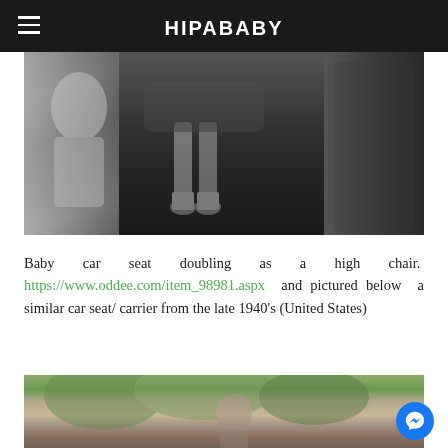HIPABABY
[Figure (photo): Black and white historical photograph showing children near what appears to be a car, with one child visible in a suspended seat/carrier]
Baby car seat doubling as a high chair. https://www.oddee.com/item_98981.aspx and pictured below a similar car seat/ carrier from the late 1940's (United States)
[Figure (photo): Sepia/black and white photograph of a person outdoors with trees in background, likely from the 1940s United States]